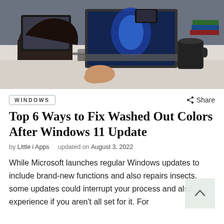[Figure (photo): Person sitting at a desk using a laptop displaying Windows 11 interface, with a coffee mug and tablet visible on the desk]
WINDOWS
Share
Top 6 Ways to Fix Washed Out Colors After Windows 11 Update
by Little i Apps   updated on August 3, 2022
While Microsoft launches regular Windows updates to include brand-new functions and also repairs insects, some updates could interrupt your process and also experience if you aren't all set for it. For